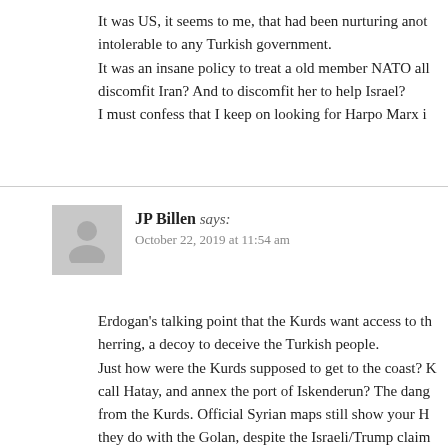It was US, it seems to me, that had been nurturing anot… intolerable to any Turkish government. It was an insane policy to treat a old member NATO all… discomfit Iran? And to discomfit her to help Israel? I must confess that I keep on looking for Harpo Marx i…
JP Billen says: October 22, 2019 at 11:54 am
Erdogan's talking point that the Kurds want access to th… herring, a decoy to deceive the Turkish people. Just how were the Kurds supposed to get to the coast? K… call Hatay, and annex the port of Iskenderun? The dang… from the Kurds. Official Syrian maps still show your H… they do with the Golan, despite the Israeli/Trump claim… still say "We are coming Antakya!" Or maybe you think the YPG can snatch up Latakia? N… SAA and the Russians could never allow that to happ…